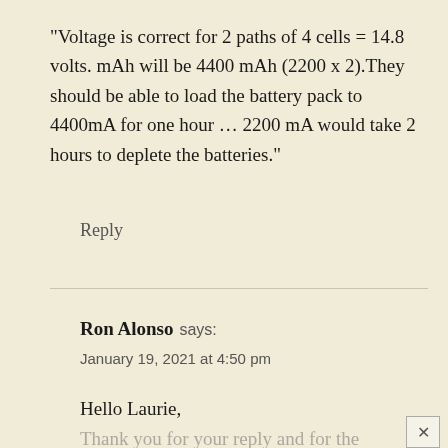“Voltage is correct for 2 paths of 4 cells = 14.8 volts. mAh will be 4400 mAh (2200 x 2).They should be able to load the battery pack to 4400mA for one hour … 2200 mA would take 2 hours to deplete the batteries.”
Reply
Ron Alonso says:
January 19, 2021 at 4:50 pm
Hello Laurie,
Thank you for your reply and for the help of your colleagues.